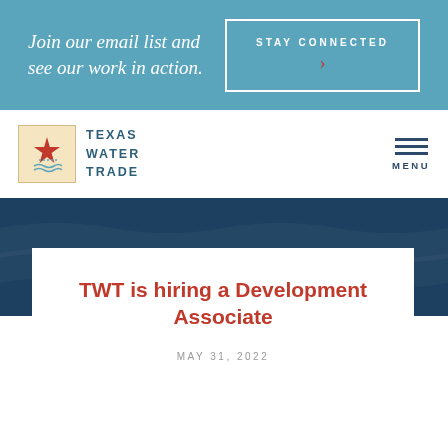Join our email list and see our work in action.
STAY CONNECTED ›
[Figure (logo): Texas Water Trade logo with star and wave icon in tan box, with teal text TEXAS WATER TRADE]
MENU
[Figure (photo): Dark navy blue textured hero banner section]
TWT is hiring a Development Associate
MAY 31, 2022